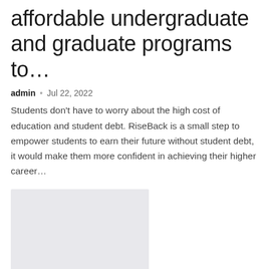affordable undergraduate and graduate programs to…
admin • Jul 22, 2022
Students don't have to worry about the high cost of education and student debt. RiseBack is a small step to empower students to earn their future without student debt, it would make them more confident in achieving their higher career…
[Figure (photo): Placeholder thumbnail image with light gray background]
Struggling With Letters, This Kerala Youth Faces Life's